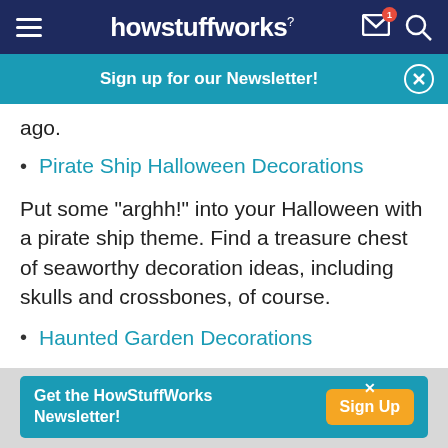howstuffworks
Sign up for our Newsletter!
ago.
Pirate Ship Halloween Decorations
Put some "arghh!" into your Halloween with a pirate ship theme. Find a treasure chest of seaworthy decoration ideas, including skulls and crossbones, of course.
Haunted Garden Decorations
Get the HowStuffWorks Newsletter! Sign Up